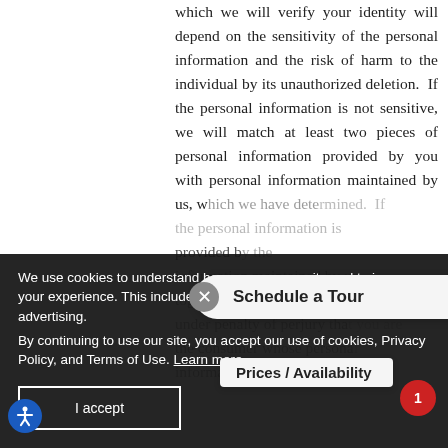which we will verify your identity will depend on the sensitivity of the personal information and the risk of harm to the individual by its unauthorized deletion.  If the personal information is not sensitive, we will match at least two pieces of personal information provided by you with personal information maintained by us, which we have dete... If the personal information is... provided b... information maintained by us... together with a signed decla... under penalty of perjury tha... the consumer whose persona... information is the subject of the...
We use cookies to understand how you use our site and to improve your experience. This includes personalizing content and advertising.
By continuing to use our site, you accept our use of cookies, Privacy Policy, and Terms of Use. Learn more